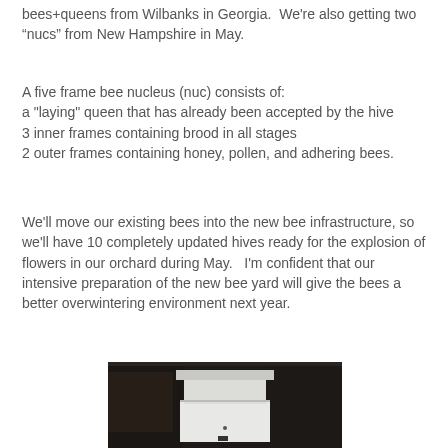bees+queens from Wilbanks in Georgia.  We're also getting two "nucs" from New Hampshire in May.
A five frame bee nucleus (nuc) consists of:
a "laying" queen that has already been accepted by the hive
3 inner frames containing brood in all stages
2 outer frames containing honey, pollen, and adhering bees.
We'll move our existing bees into the new bee infrastructure, so we'll have 10 completely updated hives ready for the explosion of flowers in our orchard during May.   I'm confident that our intensive preparation of the new bee yard will give the bees a better overwintering environment next year.
[Figure (photo): Photo of a white beehive box with dark surroundings, appearing to show a Langstroth hive setup indoors or in a shed.]